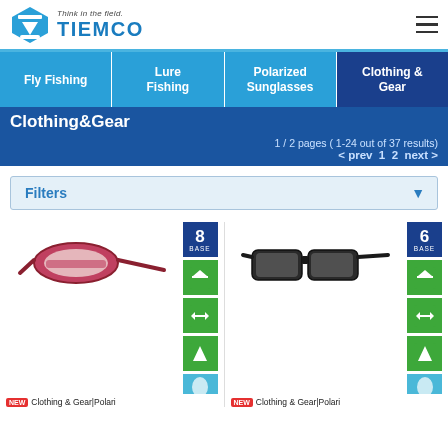Think in the field. TIEMCO
Fly Fishing
Lure Fishing
Polarized Sunglasses
Clothing & Gear
Clothing&Gear
1 / 2 pages ( 1-24 out of 37 results)
< prev  1  2  next >
Filters
[Figure (photo): Red/pink sport wraparound sunglasses with 8 BASE and green feature badges]
NEW  Clothing & Gear|Polari
[Figure (photo): Black casual sunglasses with 6 BASE and green feature badges]
NEW  Clothing & Gear|Polari